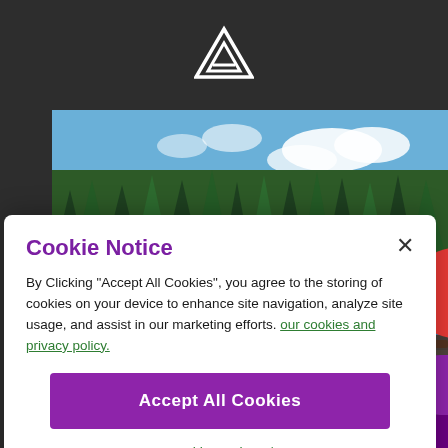[Figure (logo): Triangle/mountain logo mark in white on dark grey background]
[Figure (photo): Outdoor lakeside view from a deck with wine glasses and a bottle of wine on a railing, evergreen trees, blue lake water, and a boat in the background under a partly cloudy sky]
Cookie Notice
By Clicking "Accept All Cookies", you agree to the storing of cookies on your device to enhance site navigation, analyze site usage, and assist in our marketing efforts. our cookies and privacy policy.
Accept All Cookies
Cookie Settings / Do Not Sell My